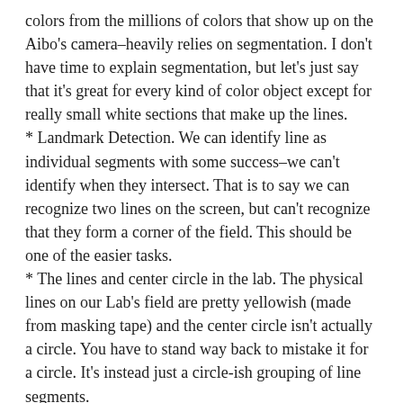colors from the millions of colors that show up on the Aibo's camera–heavily relies on segmentation. I don't have time to explain segmentation, but let's just say that it's great for every kind of color object except for really small white sections that make up the lines.
* Landmark Detection. We can identify line as individual segments with some success–we can't identify when they intersect. That is to say we can recognize two lines on the screen, but can't recognize that they form a corner of the field. This should be one of the easier tasks.
* The lines and center circle in the lab. The physical lines on our Lab's field are pretty yellowish (made from masking tape) and the center circle isn't actually a circle. You have to stand way back to mistake it for a circle. It's instead just a circle-ish grouping of line segments.
* The camera settings. We are forced to use the most blurry settings — which make the field brighter — because the lighting in our lab is so dim. Our lighting upgrade may still be months away.